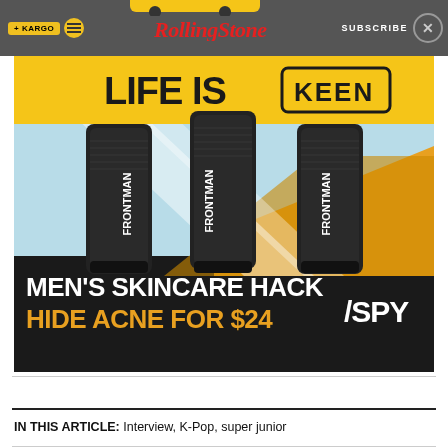KARGO | RollingStone | SUBSCRIBE
[Figure (infographic): Advertisement showing three FRONTMAN skincare tubes against a light blue and yellow/orange geometric background. Top banner reads LIFE IS KEEN in yellow. Bottom bar reads MEN'S SKINCARE HACK HIDE ACNE FOR $24 with /SPY logo.]
IN THIS ARTICLE:  Interview,  K-Pop,  super junior